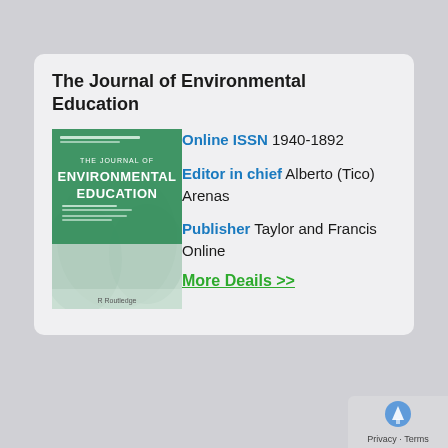The Journal of Environmental Education
[Figure (illustration): Cover of The Journal of Environmental Education – green background with white text showing journal title, editor names; decorative leaf/plant background image; Routledge logo at bottom.]
Online ISSN 1940-1892
Editor in chief Alberto (Tico) Arenas
Publisher Taylor and Francis Online
More Deails >>